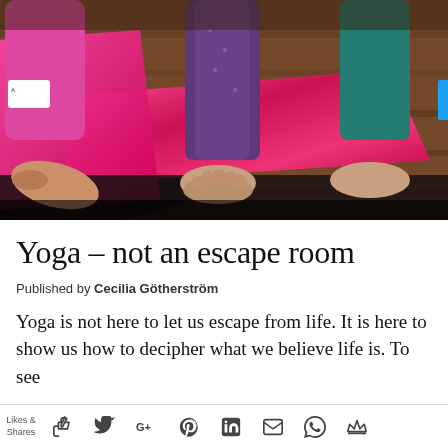[Figure (photo): Close-up of bare feet on bright pink yoga mats on a wooden floor, with people in yoga poses wearing colorful leggings]
Yoga – not an escape room
Published by Cecilia Götherström
Yoga is not here to let us escape from life. It is here to show us how to decipher what we believe life is. To see
Likes & Shares [social icons: thumbs up, Twitter, Google+, Pinterest, LinkedIn, email, WhatsApp, crown]